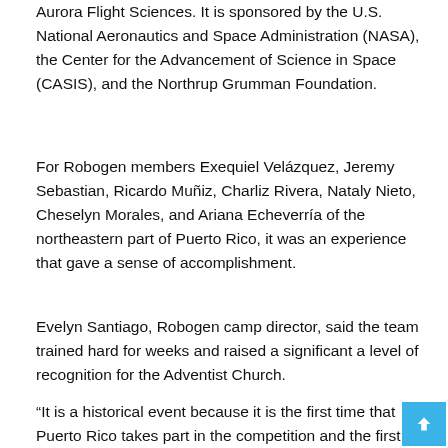Aurora Flight Sciences. It is sponsored by the U.S. National Aeronautics and Space Administration (NASA), the Center for the Advancement of Science in Space (CASIS), and the Northrup Grumman Foundation.
For Robogen members Exequiel Velázquez, Jeremy Sebastian, Ricardo Muñiz, Charliz Rivera, Nataly Nieto, Cheselyn Morales, and Ariana Echeverría of the northeastern part of Puerto Rico, it was an experience that gave a sense of accomplishment.
Evelyn Santiago, Robogen camp director, said the team trained hard for weeks and raised a significant a level of recognition for the Adventist Church.
“It is a historical event because it is the first time that Puerto Rico takes part in the competition and the first time that an Adventist Pathfinder Club participates in a national and